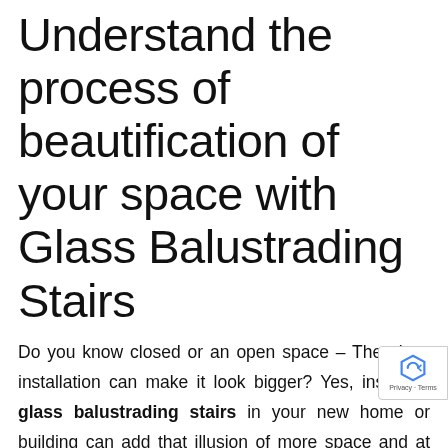Understand the process of beautification of your space with Glass Balustrading Stairs
Do you know closed or an open space – The glass installation can make it look bigger? Yes, installing glass balustrading stairs in your new home or building can add that illusion of more space and at the same time will give you an elegant ambiance with a modernized feel. Glass will beautify your space without blocking the